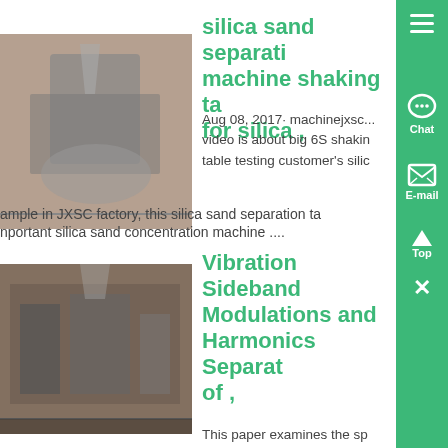[Figure (photo): Industrial silica sand separation machine in a factory setting]
silica sand separation machine shaking table for silica ,
Aug 08, 2017· machinejxsc... video is about big 6S shaking table testing customer's silica sample in JXSC factory, this silica sand separation table is important silica sand concentration machine ....
[Figure (photo): Industrial machinery inside a large factory building]
Vibration Sideband Modulations and Harmonics Separation of ,
This paper examines the sp...